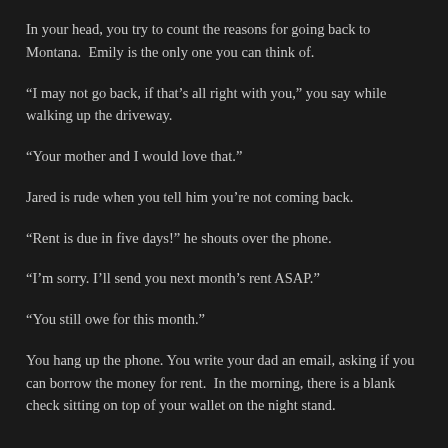In your head, you try to count the reasons for going back to Montana.  Emily is the only one you can think of.
“I may not go back, if that’s all right with you,” you say while walking up the driveway.
“Your mother and I would love that.”
Jared is rude when you tell him you’re not coming back.
“Rent is due in five days!” he shouts over the phone.
“I’m sorry. I’ll send you next month’s rent ASAP.”
“You still owe for this month.”
You hang up the phone. You write your dad an email, asking if you can borrow the money for rent.  In the morning, there is a blank check sitting on top of your wallet on the night stand.